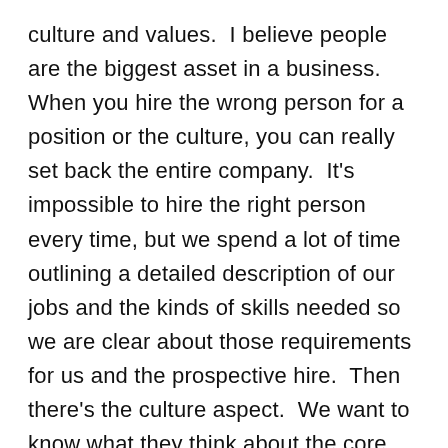culture and values.  I believe people are the biggest asset in a business.  When you hire the wrong person for a position or the culture, you can really set back the entire company.  It's impossible to hire the right person every time, but we spend a lot of time outlining a detailed description of our jobs and the kinds of skills needed so we are clear about those requirements for us and the prospective hire.  Then there's the culture aspect.  We want to know what they think about the core values of our company and how they fit into their own values.  If issues arise that could put our company values at risk, we want to know how they would respond.  People make a business so I